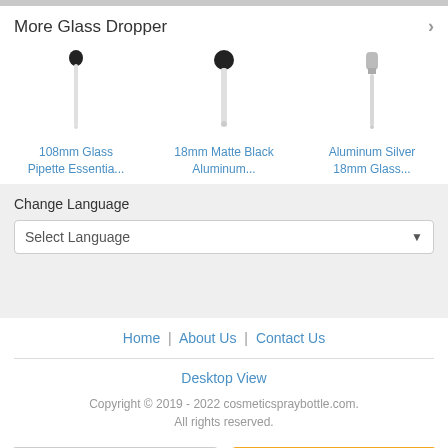More Glass Dropper
[Figure (illustration): Three glass dropper product images: a narrow black-tipped pipette dropper, a matte black aluminum dropper, and a silver aluminum glass dropper]
108mm Glass Pipette Essentia...
18mm Matte Black Aluminum...
Aluminum Silver 18mm Glass...
Change Language
Select Language
Home | About Us | Contact Us
Desktop View
Copyright © 2019 - 2022 cosmeticspraybottle.com. All rights reserved.
Call Us
Contact Supplier